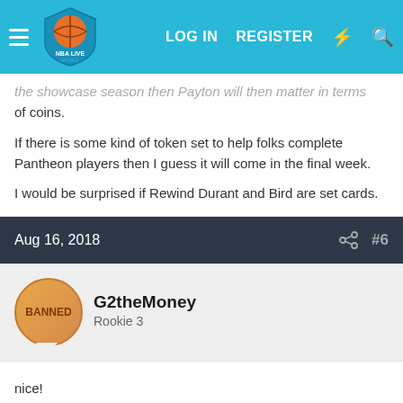NBA Live Mobile forum header with LOG IN, REGISTER navigation
the showcase season then Payton will then matter in terms of coins.
If there is some kind of token set to help folks complete Pantheon players then I guess it will come in the final week.
I would be surprised if Rewind Durant and Bird are set cards.
Aug 16, 2018 #6
G2theMoney Rookie 3
nice!
one would assume then that certified AD would be a pack...